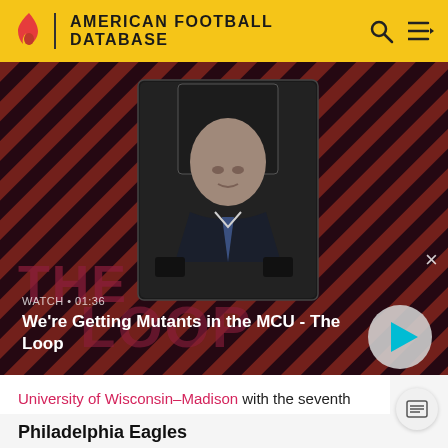AMERICAN FOOTBALL DATABASE
[Figure (screenshot): Video thumbnail showing a bald man in a suit seated in a chair, with a red and dark diagonal striped background. The Loop show branding is visible. Label reads WATCH • 01:36, title: We're Getting Mutants in the MCU - The Loop]
University of Wisconsin–Madison with the seventh pick in the first round of the 1992 NFL Draft. He spent four seasons with the Dolphins.
Philadelphia Eagles